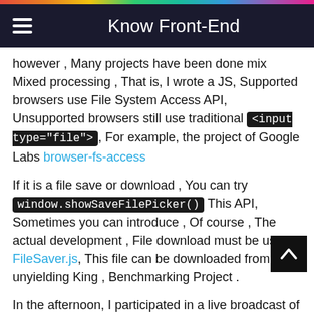Know Front-End
however , Many projects have been done mix Mixed processing , That is, I wrote a JS, Supported browsers use File System Access API, Unsupported browsers still use traditional <input type="file">, For example, the project of Google Labs browser-fs-access
If it is a file save or download , You can try window.showSaveFilePicker() This API, Sometimes you can introduce , Of course , The actual development , File download must be using FileSaver.js, This file can be downloaded from the unyielding King , Benchmarking Project .
In the afternoon, I participated in a live broadcast of nuggets , Talk about writing , If you are interested, you can pay attention to , There should be video and PPT, Campaign page address This is it .